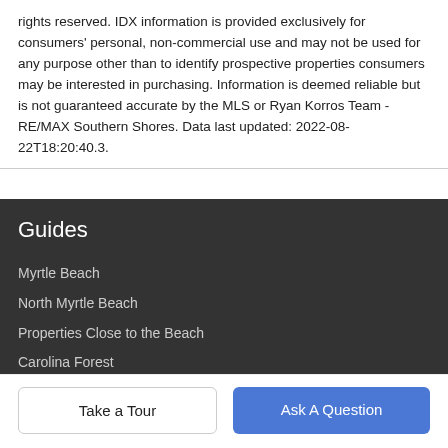rights reserved. IDX information is provided exclusively for consumers' personal, non-commercial use and may not be used for any purpose other than to identify prospective properties consumers may be interested in purchasing. Information is deemed reliable but is not guaranteed accurate by the MLS or Ryan Korros Team - RE/MAX Southern Shores. Data last updated: 2022-08-22T18:20:40.3.
Guides
Myrtle Beach
North Myrtle Beach
Properties Close to the Beach
Carolina Forest
Market Common
More Guides >
Take a Tour
Ask A Question